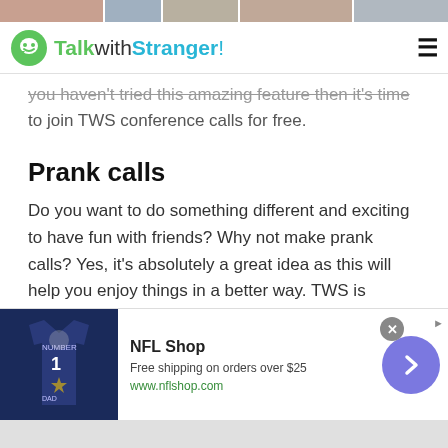[Figure (photo): Top strip with face thumbnails]
TalkwithStranger!
you haven't tried this amazing feature then it's time to join TWS conference calls for free.
Prank calls
Do you want to do something different and exciting to have fun with friends? Why not make prank calls? Yes, it's absolutely a great idea as this will help you enjoy things in a better way. TWS is considered as best for making free prank calls. It is indeed a trusted and reputed online chatting platform th...
[Figure (other): NFL Shop advertisement banner with jersey image, text 'NFL Shop', 'Free shipping on orders over $25', 'www.nflshop.com', and a next arrow button]